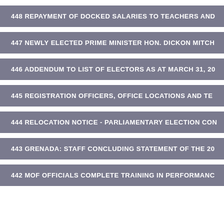448 REPAYMENT OF DOCKED SALARIES TO TEACHERS AND...
447 NEWLY ELECTED PRIME MINISTER HON. DICKON MITCH...
446 ADDENDUM TO LIST OF ELECTORS AS AT MARCH 31, 20...
445 REGISTRATION OFFICERS, OFFICE LOCATIONS AND TE...
444 RELOCATION NOTICE - PARLIAMENTARY ELECTION CON...
443 GRENADA: STAFF CONCLUDING STATEMENT OF THE 20...
442 MOF OFFICIALS COMPLETE TRAINING IN PERFORMANC...